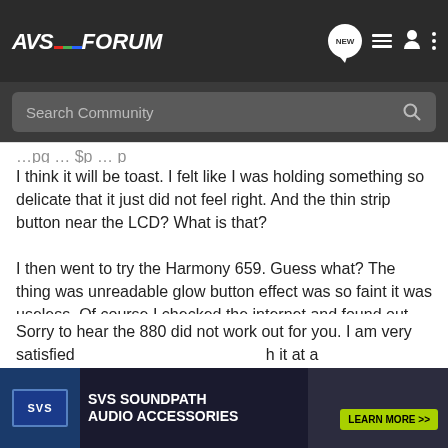AVS FORUM
I think it will be toast. I felt like I was holding something so delicate that it just did not feel right. And the thin strip button near the LCD? What is that?
I then went to try the Harmony 659. Guess what? The thing was unreadable glow button effect was so faint it was useless. Of course I checked the internet and found out about the bad batches of 659.
Logitech is good at making toys not TV remotes.
Sorry to hear the 880 did not work out for you. I am very satisfied ... h it at a price no...
[Figure (infographic): SVS SoundPath Audio Accessories advertisement banner with Learn More button]